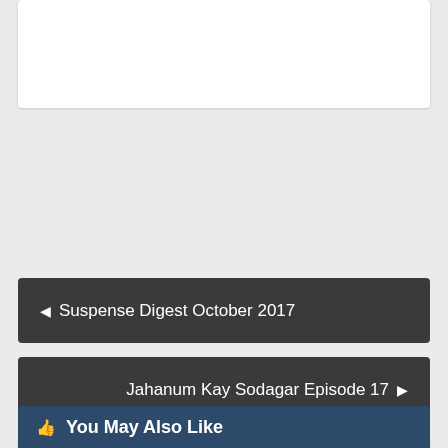[Figure (other): Partial white card at top of page (content cut off)]
◄ Suspense Digest October 2017
Jahanum Kay Sodagar Episode 17 ►
M Waseem Anwar
Student of finance with deep interest in tech and software's, I am content writer , working on business proposal, business profiles and business plans. Paksociety is my younger age work and I am still giving this child my time.
👍 You May Also Like